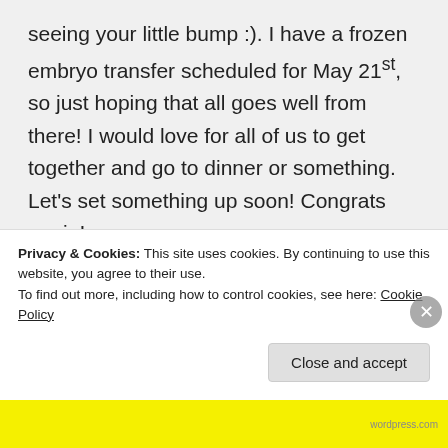seeing your little bump :). I have a frozen embryo transfer scheduled for May 21st, so just hoping that all goes well from there! I would love for all of us to get together and go to dinner or something. Let's set something up soon! Congrats again!
↳ Reply
Kelly on May 9, 2013 at 1:45
Privacy & Cookies: This site uses cookies. By continuing to use this website, you agree to their use.
To find out more, including how to control cookies, see here: Cookie Policy
Close and accept